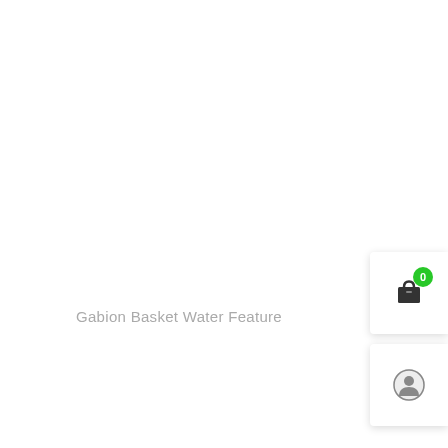Gabion Basket Water Feature
[Figure (screenshot): Shopping cart icon with green badge showing 0 items, in a floating white panel on the right side]
[Figure (screenshot): User account/profile icon in a floating white panel on the right side]